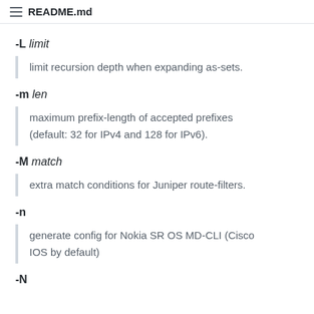README.md
-L limit
limit recursion depth when expanding as-sets.
-m len
maximum prefix-length of accepted prefixes (default: 32 for IPv4 and 128 for IPv6).
-M match
extra match conditions for Juniper route-filters.
-n
generate config for Nokia SR OS MD-CLI (Cisco IOS by default)
-N